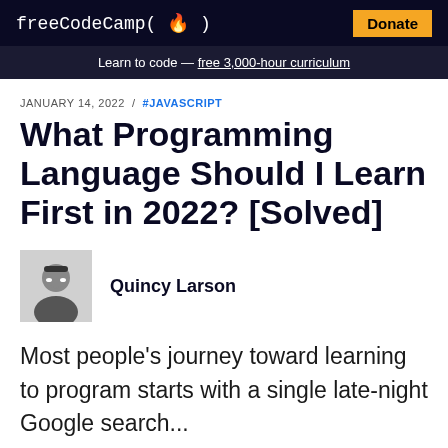freeCodeCamp (🔥)   Donate
Learn to code — free 3,000-hour curriculum
JANUARY 14, 2022 / #JAVASCRIPT
What Programming Language Should I Learn First in 2022? [Solved]
Quincy Larson
Most people's journey toward learning to program starts with a single late-night Google search...